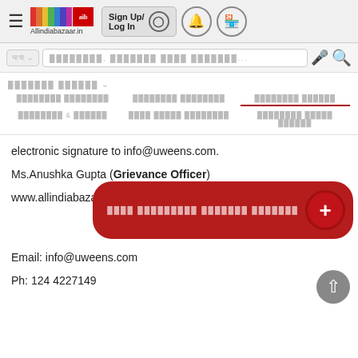[Figure (screenshot): Allindiabazaar.in website header with hamburger menu, logo, Sign Up/Log In button, notification bell, and shop icon]
[Figure (screenshot): Search bar with dropdown and microphone/search icons, navigation menu with category items in Hindi, and page content showing grievance officer contact information]
electronic signature to info@uweens.com.
Ms.Anushka Gupta (Grievance Officer)
www.allindiabazaar.in
Email: info@uweens.com
Ph: 124 4227149